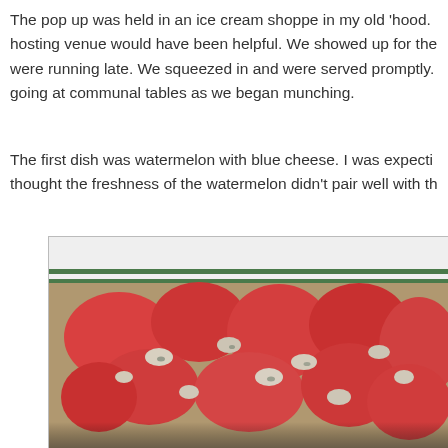The pop up was held in an ice cream shoppe in my old 'hood. hosting venue would have been helpful. We showed up for the were running late. We squeezed in and were served promptly. going at communal tables as we began munching.
The first dish was watermelon with blue cheese. I was expecti thought the freshness of the watermelon didn't pair well with th
[Figure (photo): A white bowl with green stripes on the rim, filled with chunks of red watermelon and crumbled blue cheese]